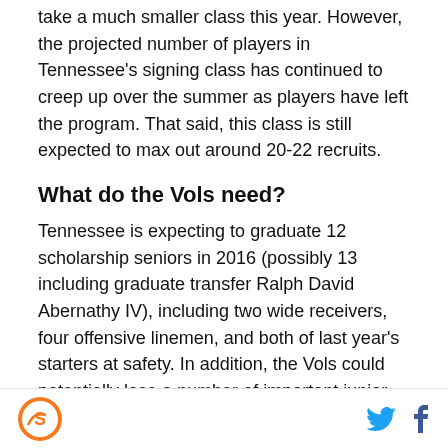take a much smaller class this year. However, the projected number of players in Tennessee's signing class has continued to creep up over the summer as players have left the program. That said, this class is still expected to max out around 20-22 recruits.
What do the Vols need?
Tennessee is expecting to graduate 12 scholarship seniors in 2016 (possibly 13 including graduate transfer Ralph David Abernathy IV), including two wide receivers, four offensive linemen, and both of last year's starters at safety. In addition, the Vols could potentially lose a number of important junior starters to the NFL, including Marquez North, Cam Sutton, and Jalen Reeves-Maybin, although North's health and